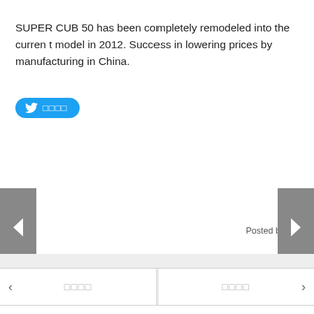SUPER CUB 50 has been completely remodeled into the current model in 2012. Success in lowering prices by manufacturing in China.
[Figure (other): Twitter share button with bird icon and Japanese text label in blue rounded rectangle]
Posted by CUB
[Figure (other): Left navigation arrow button (gray block with white left-pointing triangle)]
[Figure (other): Right navigation arrow button (gray block with white right-pointing triangle)]
← 이전글 | 다음글 →